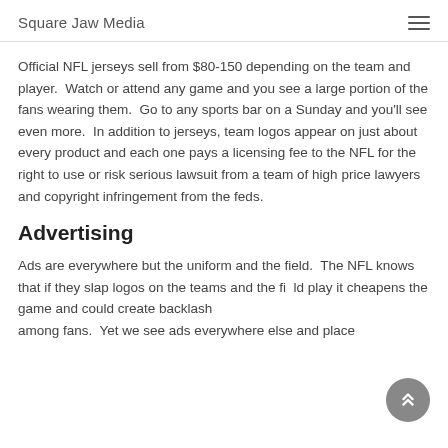Square Jaw Media
Official NFL jerseys sell from $80-150 depending on the team and player.  Watch or attend any game and you see a large portion of the fans wearing them.  Go to any sports bar on a Sunday and you'll see even more.  In addition to jerseys, team logos appear on just about every product and each one pays a licensing fee to the NFL for the right to use or risk serious lawsuit from a team of high price lawyers and copyright infringement from the feds.
Advertising
Ads are everywhere but the uniform and the field.  The NFL knows that if they slap logos on the teams and the field play it cheapens the game and could create backlash among fans.  Yet we see ads everywhere else and placed